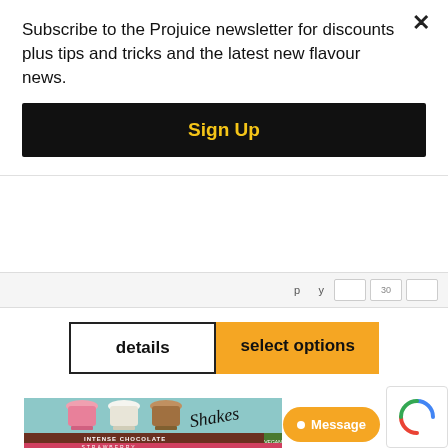Subscribe to the Projuice newsletter for discounts plus tips and tricks and the latest new flavour news.
Sign Up
details
select options
[Figure (photo): Product photo of Projuice Shakes showing three milkshake glasses (strawberry, vanilla, chocolate) with the text 'Shakes' in cursive. Below shows product label: INTENSE CHOCOLATE - VEGAN CHOCOLATE ICE CREAM DARK CHOCOLATE CHIPS (vegan). Below that a pink/red band with STRAWBERRY text.]
Message